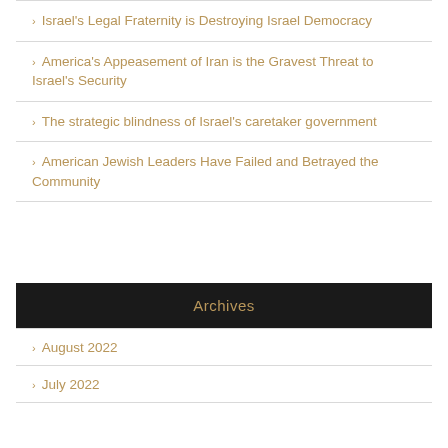Israel's Legal Fraternity is Destroying Israel Democracy
America's Appeasement of Iran is the Gravest Threat to Israel's Security
The strategic blindness of Israel's caretaker government
American Jewish Leaders Have Failed and Betrayed the Community
Archives
August 2022
July 2022